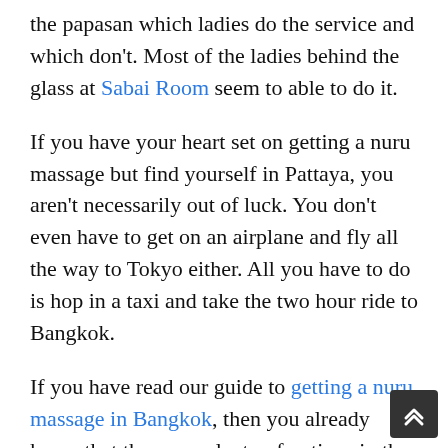the papasan which ladies do the service and which don't. Most of the ladies behind the glass at Sabai Room seem to able to do it.
If you have your heart set on getting a nuru massage but find yourself in Pattaya, you aren't necessarily out of luck. You don't even have to get on an airplane and fly all the way to Tokyo either. All you have to do is hop in a taxi and take the two hour ride to Bangkok.
If you have read our guide to getting a nuru massage in Bangkok, then you already know that there are plenty of options in the capital. Places like Mitu Massage and Doki Doki even use authentic nuru lotion from Japan. And they have women trained in real nuru massage. Since Bangkok is only a few hours away from Pattaya, it is an option if really feel the need to get a genuine nuru massage.